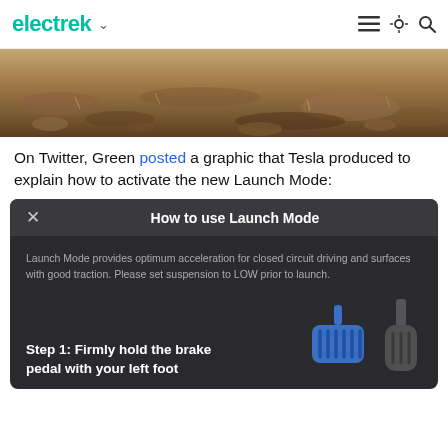electrek
[Figure (photo): Aerial/ground-level photograph of a rocky, arid landscape with dry vegetation and sandy soil.]
On Twitter, Green posted a graphic that Tesla produced to explain how to activate the new Launch Mode:
[Figure (screenshot): Dark-themed Tesla UI card titled 'How to use Launch Mode'. Contains description: 'Launch Mode provides optimum acceleration for closed circuit driving and surfaces with good traction. Please set suspension to LOW prior to launch.' Step 1: Firmly hold the brake pedal with your left foot. Shows illustrations of a blue brake pedal (pressed) and a grey accelerator pedal.]